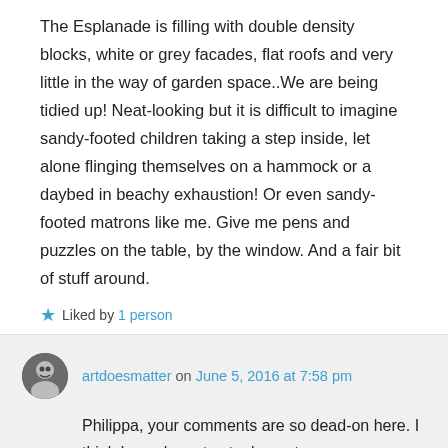The Esplanade is filling with double density blocks, white or grey facades, flat roofs and very little in the way of garden space..We are being tidied up! Neat-looking but it is difficult to imagine sandy-footed children taking a step inside, let alone flinging themselves on a hammock or a daybed in beachy exhaustion! Or even sandy-footed matrons like me. Give me pens and puzzles on the table, by the window. And a fair bit of stuff around.
Liked by 1 person
artdoesmatter on June 5, 2016 at 7:58 pm
Philippa, your comments are so dead-on here. I think I may have to steal your term